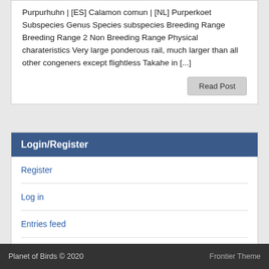Purpurhuhn | [ES] Calamon comun | [NL] Purperkoet Subspecies Genus Species subspecies Breeding Range Breeding Range 2 Non Breeding Range Physical charateristics Very large ponderous rail, much larger than all other congeners except flightless Takahe in [...]
Read Post
Login/Register
Register
Log in
Entries feed
Comments feed
WordPress.org
Planet of Birds © 2020   Frontier Theme